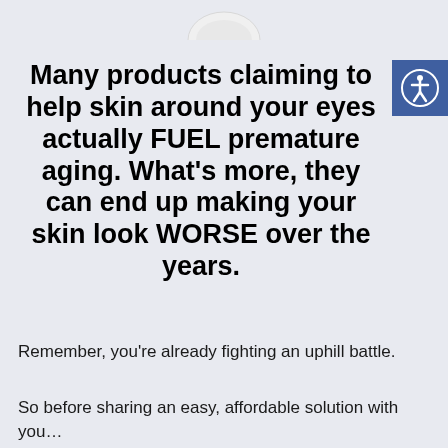[Figure (illustration): Partial top view of a white cosmetic product (cream jar or bottle) visible at top center of page]
Many products claiming to help skin around your eyes actually FUEL premature aging. What's more, they can end up making your skin look WORSE over the years.
[Figure (illustration): Accessibility icon button — blue square with white person-in-circle accessibility symbol, positioned top right]
Remember, you’re already fighting an uphill battle.
So before sharing an easy, affordable solution with you…